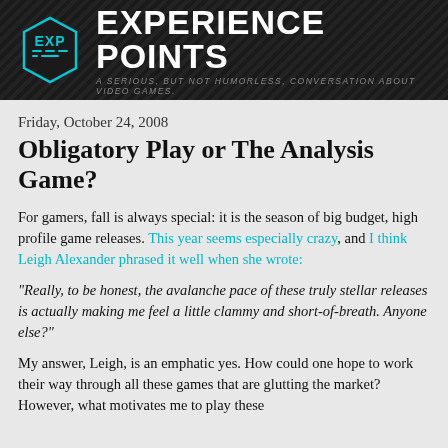[Figure (logo): Experience Points website banner with EXP logo cube on left and 'EXPERIENCE POINTS' text in white on dark background with subtitle 'A SERIOUS, BUT NOT HUMORLESS, CONVERSATION ABOUT VIDEO GAMES.']
Friday, October 24, 2008
Obligatory Play or The Analysis Game?
For gamers, fall is always special: it is the season of big budget, high profile game releases. This year seems especially crazy, and I think Leigh Alexander phrased it well when she wrote:
"Really, to be honest, the avalanche pace of these truly stellar releases is actually making me feel a little clammy and short-of-breath. Anyone else?"
My answer, Leigh, is an emphatic yes. How could one hope to work their way through all these games that are glutting the market? However, what motivates me to play these